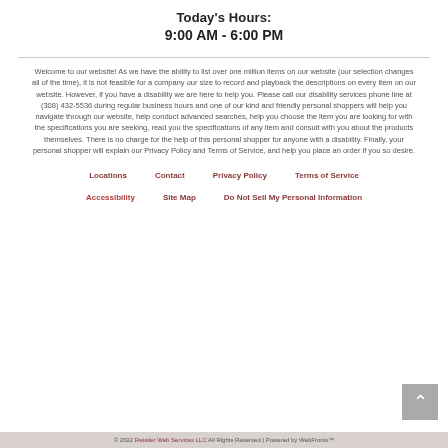Today's Hours:
9:00 AM - 6:00 PM
Welcome to our website! As we have the ability to list over one million items on our website (our selection changes all of the time), it is not feasible for a company our size to record and playback the descriptions on every item on our website. However, if you have a disability we are here to help you. Please call our disability services phone line at (308) 432-5536 during regular business hours and one of our kind and friendly personal shoppers will help you navigate through our website, help conduct advanced searches, help you choose the item you are looking for with the specifications you are seeking, read you the specifications of any item and consult with you about the products themselves. There is no charge for the help of this personal shopper for anyone with a disability. Finally, your personal shopper will explain our Privacy Policy and Terms of Service, and help you place an order if you so desire.
Locations
Contact
Privacy Policy
Terms of Service
Accessibility
Site Map
Do Not Sell My Personal Information
© 2022 Retailer Web Services LLC All Rights Reserved | Powered by WebFronts™